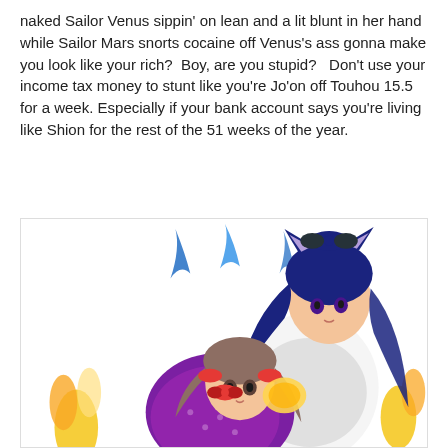naked Sailor Venus sippin' on lean and a lit blunt in her hand while Sailor Mars snorts cocaine off Venus's ass gonna make you look like your rich?  Boy, are you stupid?   Don't use your income tax money to stunt like you're Jo'on off Touhou 15.5 for a week. Especially if your bank account says you're living like Shion for the rest of the 51 weeks of the year.
[Figure (illustration): Anime-style illustration of two female characters, one with dark blue hair and cat ears wearing white, another with brown hair in twin tails wearing a purple kimono, surrounded by blue and yellow flames.]